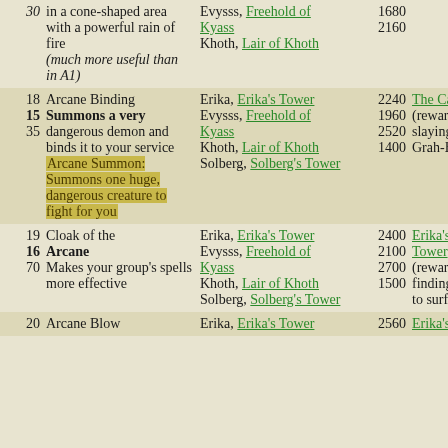| # | Description | Location | Cost | Reward |
| --- | --- | --- | --- | --- |
| 30 | in a cone-shaped area with a powerful rain of fire (much more useful than in A1) | Evysss, Freehold of Kyass
Khoth, Lair of Khoth | 1680
2160 |  |
| 18
15
35 | Arcane Binding
Summons a very dangerous demon and binds it to your service
Arcane Summon: Summons one huge, dangerous creature to fight for you | Erika, Erika's Tower
Evysss, Freehold of Kyass
Khoth, Lair of Khoth
Solberg, Solberg's Tower | 2240
1960
2520
1400 | The Castle (reward for slaying Grah-Hoth) |
| 19
16
70 | Cloak of the Arcane
Makes your group's spells more effective | Erika, Erika's Tower
Evysss, Freehold of Kyass
Khoth, Lair of Khoth
Solberg, Solberg's Tower | 2400
2100
2700
1500 | Erika's Tower (reward for finding exit to surface) |
| 20 | Arcane Blow | Erika, Erika's Tower | 2560 | Erika's |